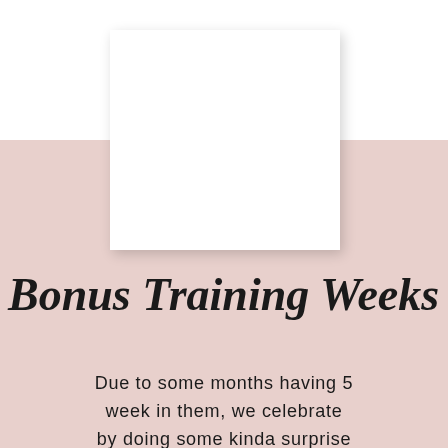[Figure (other): White rectangular card overlapping a pink background section, with a subtle drop shadow.]
Bonus Training Weeks
Due to some months having 5 week in them, we celebrate by doing some kinda surprise